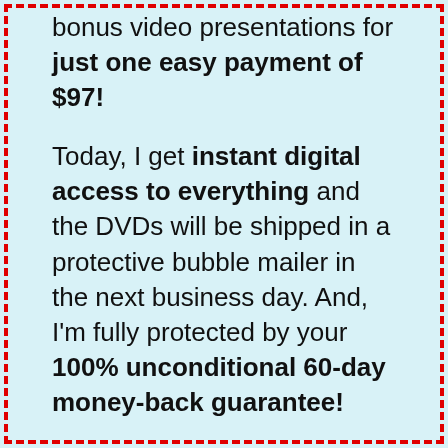bonus video presentations for just one easy payment of $97!
Today, I get instant digital access to everything and the DVDs will be shipped in a protective bubble mailer in the next business day. And, I'm fully protected by your 100% unconditional 60-day money-back guarantee!